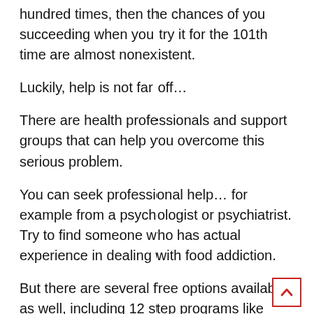hundred times, then the chances of you succeeding when you try it for the 101th time are almost nonexistent.
Luckily, help is not far off…
There are health professionals and support groups that can help you overcome this serious problem.
You can seek professional help… for example from a psychologist or psychiatrist. Try to find someone who has actual experience in dealing with food addiction.
But there are several free options available as well, including 12 step programs like Overeaters Anonymous (OA), GreySheeters Anonymous (GSA) and Food Addicts Anonymous (FAA).